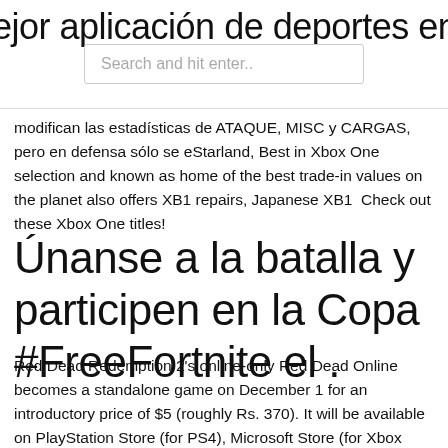ejor aplicación de deportes en kodi 2
Search and hit enter..
modifican las estadísticas de ATAQUE, MISC y CARGAS, pero en defensa sólo se eStarland, Best in Xbox One selection and known as home of the best trade-in values on the planet also offers XB1 repairs, Japanese XB1  Check out these Xbox One titles!
Únanse a la batalla y participen en la Copa #FreeFortnite el .
Red Dead Redemption 2's online-only Red Dead Online becomes a standalone game on December 1 for an introductory price of $5 (roughly Rs. 370). It will be available on PlayStation Store (for PS4), Microsoft Store (for Xbox One), Rockstar Games Launcher LOL Xbox one respond to steam summer sales. 7yr · SilentKillerr.